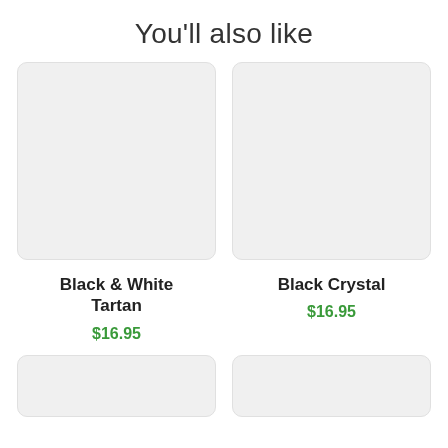You'll also like
[Figure (photo): Product image placeholder for Black & White Tartan (light gray rectangle)]
Black & White Tartan
$16.95
[Figure (photo): Product image placeholder for Black Crystal (light gray rectangle)]
Black Crystal
$16.95
[Figure (photo): Product image placeholder bottom-left (light gray rectangle, partial)]
[Figure (photo): Product image placeholder bottom-right (light gray rectangle, partial)]